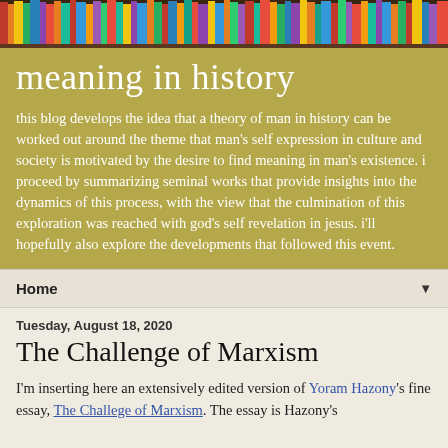[Figure (photo): Colorful bookshelf banner image showing books of various colors tightly packed on shelves]
meaning in history
this blog develops the idea that a theory of man in history can be worked out around the theme that man's self expression in culture and society is motivated by the desire to find meaning in man's existence. i proceed by summarizing seminal works that provide insights into the dynamics of this process, with the view that the culmination of this exploration was reached with god's self revelation in jesus. i'll hopefully also explore the developments that followed this event.
Home ▼
Tuesday, August 18, 2020
The Challenge of Marxism
I'm inserting here an extensively edited version of Yoram Hazony's fine essay, The Challege of Marxism. The essay is Hazony's